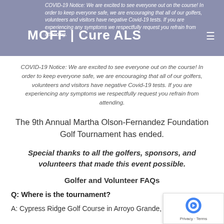COVID-19 Notice: We are excited to see everyone out on the course! In order to keep everyone safe, we are encouraging that all of our golfers, volunteers and visitors have negative Covid-19 tests. If you are experiencing any symptoms we respectfully request you refrain from attending.
MOFF Cure ALS
The 9th Annual Martha Olson-Fernandez Foundation Golf Tournament has ended.
Special thanks to all the golfers, sponsors, and volunteers that made this event possible.
Golfer and Volunteer FAQs
Q: Where is the tournament?
A: Cypress Ridge Golf Course in Arroyo Grande, CA